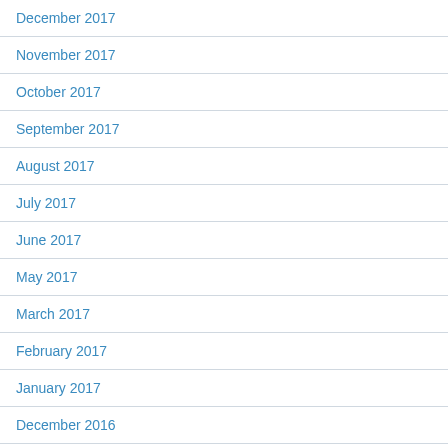December 2017
November 2017
October 2017
September 2017
August 2017
July 2017
June 2017
May 2017
March 2017
February 2017
January 2017
December 2016